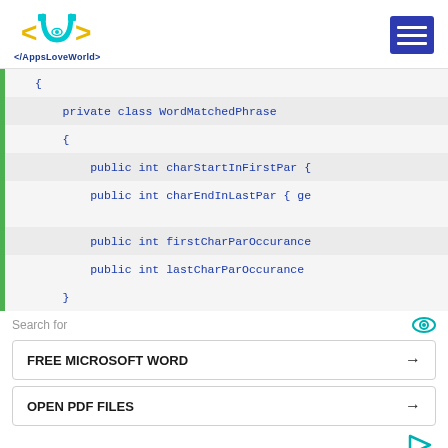</AppsLoveWorld>
[Figure (screenshot): Code snippet showing a private class WordMatchedPhrase with public int fields: charStartInFirstPar, charEndInLastPar, firstCharParOccurance, lastCharParOccurance, inside curly braces. Green left border on code block.]
Search for
FREE MICROSOFT WORD →
OPEN PDF FILES →